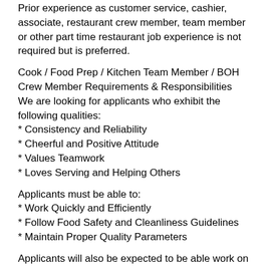Prior experience as customer service, cashier, associate, restaurant crew member, team member or other part time restaurant job experience is not required but is preferred.
Cook / Food Prep / Kitchen Team Member / BOH Crew Member Requirements & Responsibilities
We are looking for applicants who exhibit the following qualities:
* Consistency and Reliability
* Cheerful and Positive Attitude
* Values Teamwork
* Loves Serving and Helping Others
Applicants must be able to:
* Work Quickly and Efficiently
* Follow Food Safety and Cleanliness Guidelines
* Maintain Proper Quality Parameters
Applicants will also be expected to be able work on their feet for several hours at a time and lift potentially heavy objects when necessary.